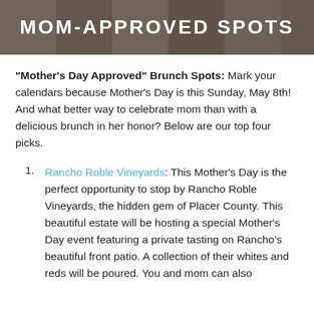[Figure (photo): Hero image of a restaurant dining table setting with text overlay reading 'MOM-APPROVED SPOTS' in white bold letters]
"Mother's Day Approved" Brunch Spots: Mark your calendars because Mother's Day is this Sunday, May 8th! And what better way to celebrate mom than with a delicious brunch in her honor? Below are our top four picks.
Rancho Roble Vineyards: This Mother's Day is the perfect opportunity to stop by Rancho Roble Vineyards, the hidden gem of Placer County. This beautiful estate will be hosting a special Mother's Day event featuring a private tasting on Rancho's beautiful front patio. A collection of their whites and reds will be poured. You and mom can also